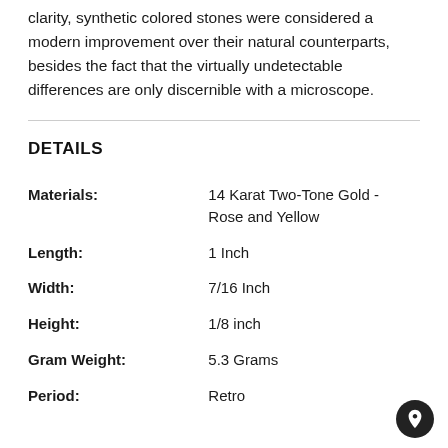clarity, synthetic colored stones were considered a modern improvement over their natural counterparts, besides the fact that the virtually undetectable differences are only discernible with a microscope.
DETAILS
| Field | Value |
| --- | --- |
| Materials: | 14 Karat Two-Tone Gold - Rose and Yellow |
| Length: | 1 Inch |
| Width: | 7/16 Inch |
| Height: | 1/8 inch |
| Gram Weight: | 5.3 Grams |
| Period: | Retro |